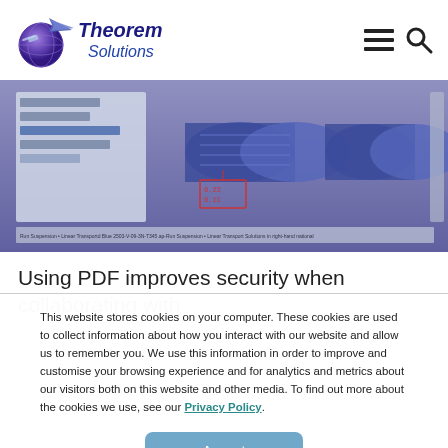[Figure (logo): Theorem Solutions company logo with globe icon and italic blue text]
[Figure (screenshot): Screenshot of a 3D CAD software interface showing mechanical assembly with cylindrical components, dimension annotations, and a tree-view panel on the left side]
Using PDF improves security when collaborating with
This website stores cookies on your computer. These cookies are used to collect information about how you interact with our website and allow us to remember you. We use this information in order to improve and customise your browsing experience and for analytics and metrics about our visitors both on this website and other media. To find out more about the cookies we use, see our Privacy Policy.
Accept